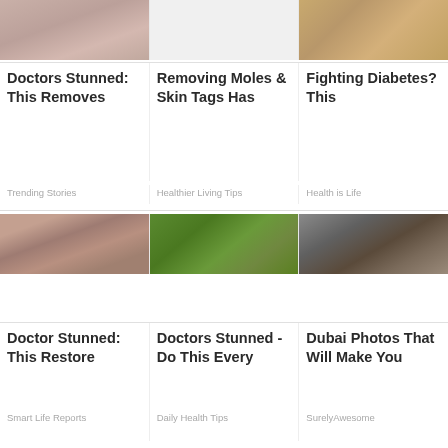[Figure (photo): Close-up photo of aged skin (partial, cropped at top)]
[Figure (photo): Empty/blank middle cell (no image visible)]
[Figure (photo): Hand holding cashew nuts]
Doctors Stunned: This Removes
Removing Moles & Skin Tags Has
Fighting Diabetes? This
Trending Stories
Healthier Living Tips
Health is Life
[Figure (photo): Woman with tea bags over her eyes]
[Figure (photo): Green matcha powder in a metal tin with wooden spoon]
[Figure (photo): Man in traditional Arab dress and woman in pink coat]
Doctor Stunned: This Restore
Doctors Stunned - Do This Every
Dubai Photos That Will Make You
Smart Life Reports
Daily Health Tips
SurelyAwesome